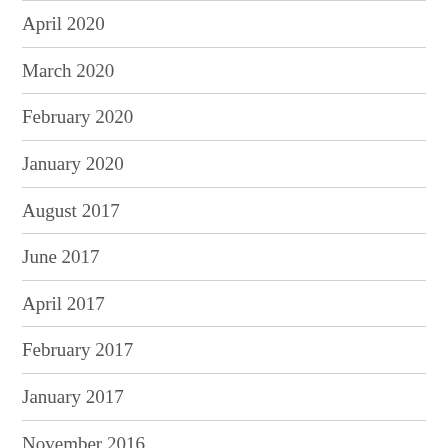April 2020
March 2020
February 2020
January 2020
August 2017
June 2017
April 2017
February 2017
January 2017
November 2016